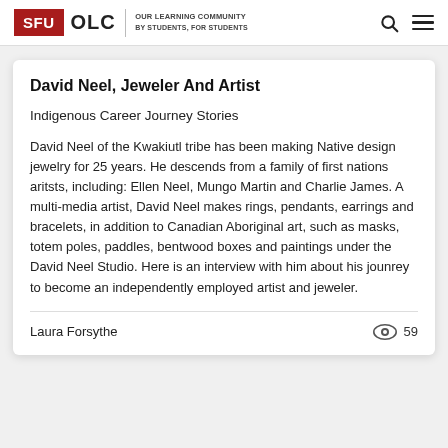SFU OLC | OUR LEARNING COMMUNITY BY STUDENTS, FOR STUDENTS
David Neel, Jeweler And Artist
Indigenous Career Journey Stories
David Neel of the Kwakiutl tribe has been making Native design jewelry for 25 years. He descends from a family of first nations aritsts, including: Ellen Neel, Mungo Martin and Charlie James. A multi-media artist, David Neel makes rings, pendants, earrings and bracelets, in addition to Canadian Aboriginal art, such as masks, totem poles, paddles, bentwood boxes and paintings under the David Neel Studio. Here is an interview with him about his jounrey to become an independently employed artist and jeweler.
Laura Forsythe
59